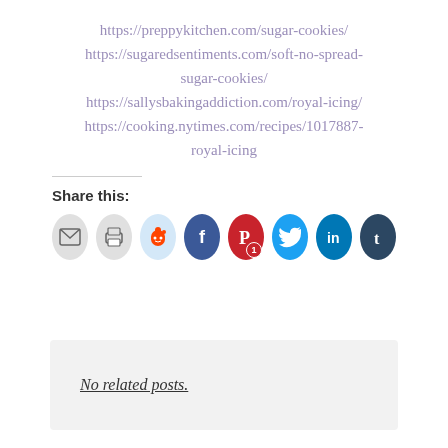https://preppykitchen.com/sugar-cookies/
https://sugaredsentiments.com/soft-no-spread-sugar-cookies/
https://sallysbakingaddiction.com/royal-icing/
https://cooking.nytimes.com/recipes/1017887-royal-icing
Share this:
[Figure (infographic): Row of social share icon buttons: email (grey), print (grey), reddit (light blue), facebook (dark blue), pinterest (red, with badge '1'), twitter (cyan), linkedin (blue), tumblr (dark navy)]
No related posts.